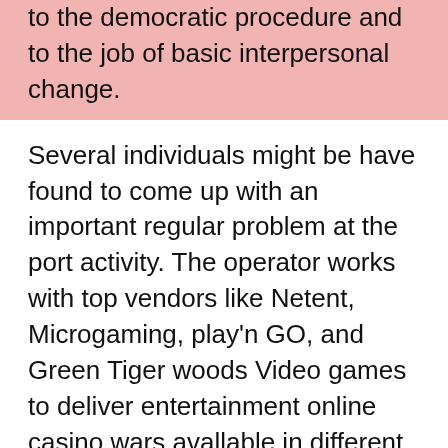to the democratic procedure and to the job of basic interpersonal change.
Several individuals might be have found to come up with an important regular problem at the port activity. The operator works with top vendors like Netent, Microgaming, play'n GO, and Green Tiger woods Video games to deliver entertainment online casino wars avallable in different paylines and themes. You will ordinarily find this about a gave mobile gaming web page about huge figures of the websites offering the assistance, and the enlistment framework is every right now and once again mainly because simple mainly because when joining for PC based video games.